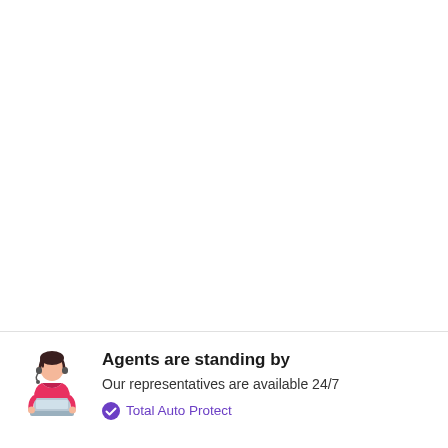[Figure (illustration): Customer service agent illustration: a person with dark hair and headset/microphone, wearing a red shirt, sitting at a laptop with a grey laptop computer]
Agents are standing by
Our representatives are available 24/7
Total Auto Protect